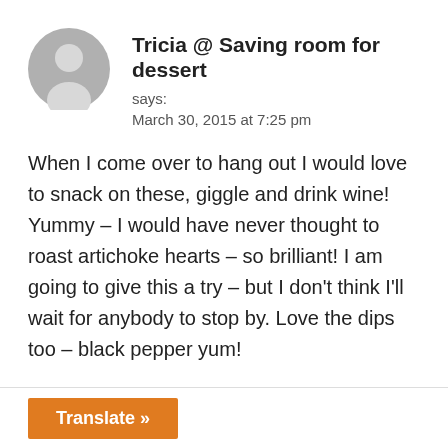Tricia @ Saving room for dessert
says:
March 30, 2015 at 7:25 pm
When I come over to hang out I would love to snack on these, giggle and drink wine! Yummy – I would have never thought to roast artichoke hearts – so brilliant! I am going to give this a try – but I don't think I'll wait for anybody to stop by. Love the dips too – black pepper yum!
Reply
Translate »